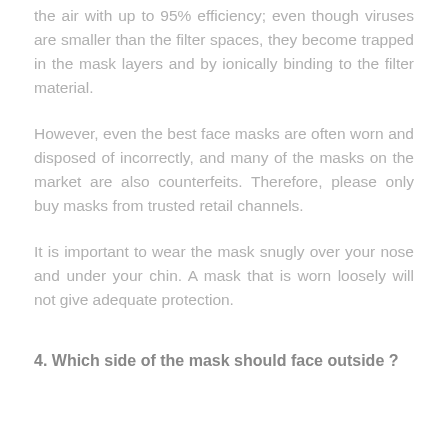the air with up to 95% efficiency; even though viruses are smaller than the filter spaces, they become trapped in the mask layers and by ionically binding to the filter material.
However, even the best face masks are often worn and disposed of incorrectly, and many of the masks on the market are also counterfeits. Therefore, please only buy masks from trusted retail channels.
It is important to wear the mask snugly over your nose and under your chin. A mask that is worn loosely will not give adequate protection.
4. Which side of the mask should face outside ?